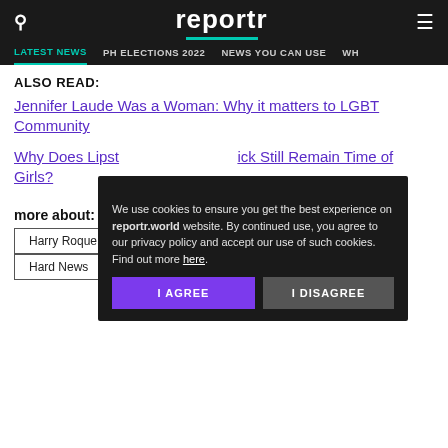reportr
LATEST NEWS  PH ELECTIONS 2022  NEWS YOU CAN USE
ALSO READ:
Jennifer Laude Was a Woman: Why it matters to LGBT Community
Why Does Lipstick Still Remain Time of Girls?
more about:
Harry Roque
Hard News
Pinky Webb
We use cookies to ensure you get the best experience on reportr.world website. By continued use, you agree to our privacy policy and accept our use of such cookies. Find out more here.